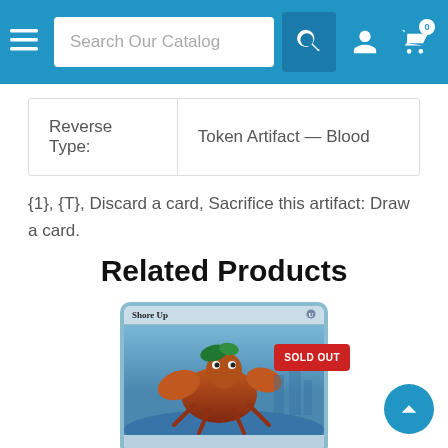Search Our Catalog
| Reverse Type: | Token Artifact — Blood |
| --- | --- |
{1}, {T}, Discard a card, Sacrifice this artifact: Draw a card.
Related Products
[Figure (screenshot): Magic: The Gathering card 'Shore Up' with a SOLD OUT badge overlay. Card shows a creature illustration on a blue-framed card.]